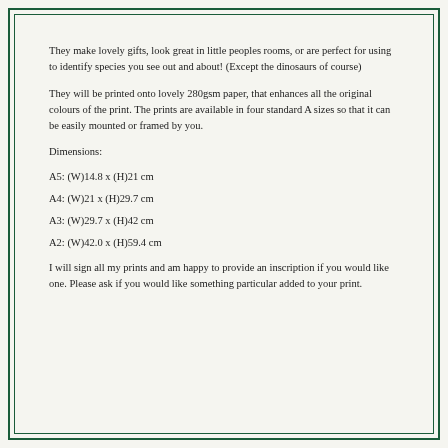They make lovely gifts, look great in little peoples rooms, or are perfect for using to identify species you see out and about! (Except the dinosaurs of course)
They will be printed onto lovely 280gsm paper, that enhances all the original colours of the print. The prints are available in four standard A sizes so that it can be easily mounted or framed by you.
Dimensions:
A5: (W)14.8 x (H)21 cm
A4: (W)21 x (H)29.7 cm
A3: (W)29.7 x (H)42 cm
A2: (W)42.0 x (H)59.4 cm
I will sign all my prints and am happy to provide an inscription if you would like one. Please ask if you would like something particular added to your print.